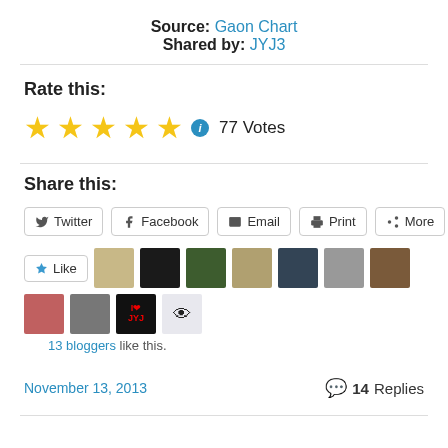Source: Gaon Chart
Shared by: JYJ3
Rate this:
★★★★★ 77 Votes
Share this:
Twitter Facebook Email Print More
Like  13 bloggers like this.
November 13, 2013  14 Replies